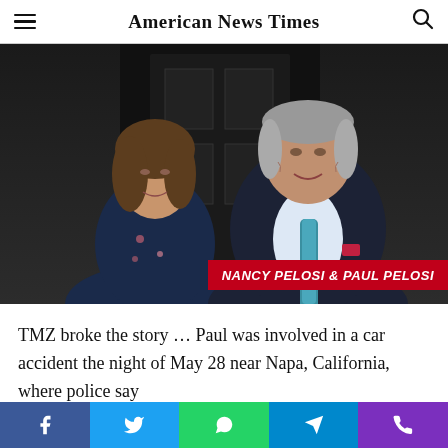American News Times
[Figure (photo): Nancy Pelosi and Paul Pelosi standing together, smiling, in front of a dark door. Nancy wears a dark floral jacket; Paul wears a dark suit with a teal tie and red pocket square. A red banner overlay reads 'NANCY PELOSI & PAUL PELOSI'.]
TMZ broke the story … Paul was involved in a car accident the night of May 28 near Napa, California, where police say